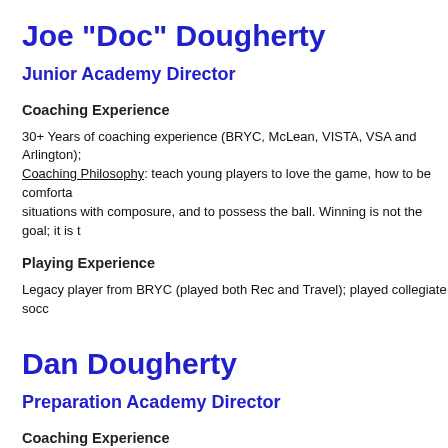Joe "Doc" Dougherty
Junior Academy Director
Coaching Experience
30+ Years of coaching experience (BRYC, McLean, VISTA, VSA and Arlington); Coaching Philosophy: teach young players to love the game, how to be comfortable in situations with composure, and to possess the ball. Winning is not the goal; it is t
Playing Experience
Legacy player from BRYC (played both Rec and Travel);  played collegiate socc
Dan Dougherty
Preparation Academy Director
Coaching Experience